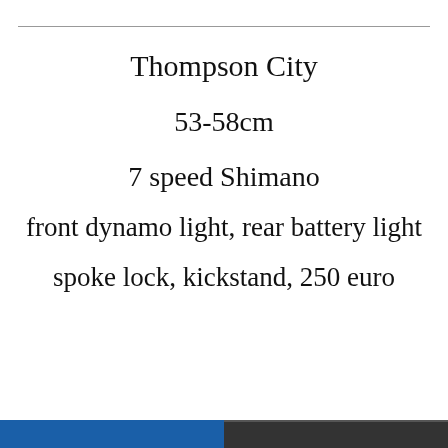Thompson City
53-58cm
7 speed Shimano
front dynamo light, rear battery light
spoke lock, kickstand, 250 euro
[Figure (photo): Two photos at the bottom of the page showing the Thompson City bicycle]